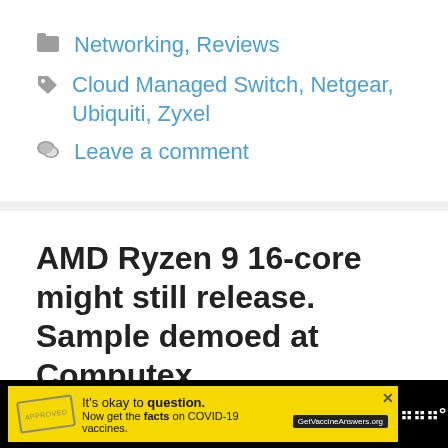Networking, Reviews
Cloud Managed Switch, Netgear, Ubiquiti, Zyxel
Leave a comment
AMD Ryzen 9 16-core might still release. Sample demoed at Computex
31st May 2019 by James Smythe
[Figure (infographic): Advertisement banner: yellow background with 'It's okay to question. Now get the facts on COVID-19 vaccines. GetVaccineAnswers.org' text, with a close button and logo on black background.]